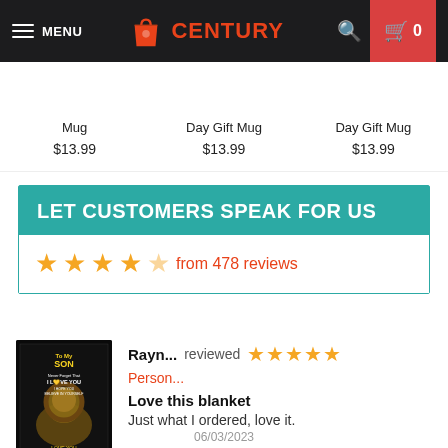MENU | CENTURY | 0
Mug  $13.99 | Day Gift Mug  $13.99 | Day Gift Mug  $13.99
LET CUSTOMERS SPEAK FOR US
★★★★☆ from 478 reviews
[Figure (photo): Product image of a blanket/poster featuring a lion with text 'To My Son' and inspirational message]
Rayn... reviewed ★★★★★ Person... Love this blanket Just what I ordered, love it.
06/03/2023